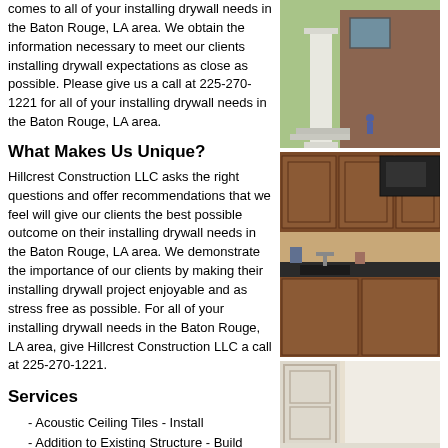comes to all of your installing drywall needs in the Baton Rouge, LA area. We obtain the information necessary to meet our clients installing drywall expectations as close as possible. Please give us a call at 225-270-1221 for all of your installing drywall needs in the Baton Rouge, LA area.
[Figure (photo): Exterior photo showing white column and brick house facade]
What Makes Us Unique?
Hillcrest Construction LLC asks the right questions and offer recommendations that we feel will give our clients the best possible outcome on their installing drywall needs in the Baton Rouge, LA area. We demonstrate the importance of our clients by making their installing drywall project enjoyable and as stress free as possible. For all of your installing drywall needs in the Baton Rouge, LA area, give Hillcrest Construction LLC a call at 225-270-1221.
[Figure (photo): Interior kitchen photo showing dark wood cabinets and granite countertop]
Services
- Acoustic Ceiling Tiles - Install
- Addition to Existing Structure - Build
- Basement - Remodel
- Bathroom - Remodel
- Brick or Stone Siding: Install or Completely Replace
- Cabinets - Install
[Figure (photo): Interior photo showing light-colored wall or door trim detail]